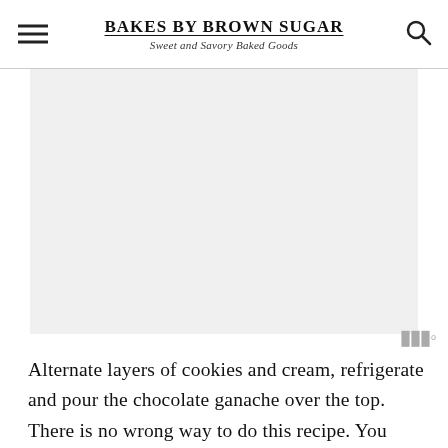BAKES BY BROWN SUGAR – Sweet and Savory Baked Goods
[Figure (other): Advertisement / placeholder image area (gray background)]
Alternate layers of cookies and cream, refrigerate and pour the chocolate ganache over the top. There is no wrong way to do this recipe. You might decide that you want a double layer cookies or double layer of cream.